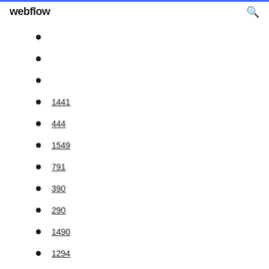webflow
1441
444
1549
791
390
290
1490
1294
1691